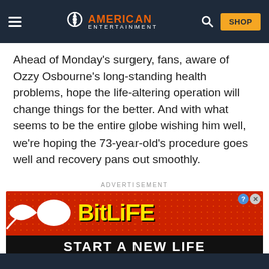American Entertainment — navigation bar with hamburger menu, logo, search icon, and SHOP button
Ahead of Monday’s surgery, fans, aware of Ozzy Osbourne’s long-standing health problems, hope the life-altering operation will change things for the better. And with what seems to be the entire globe wishing him well, we’re hoping the 73-year-old’s procedure goes well and recovery pans out smoothly.
ADVERTISEMENT
[Figure (screenshot): BitLife advertisement banner with red dotted background, sperm logo, yellow BitLife text, and black bar reading START A NEW LIFE]